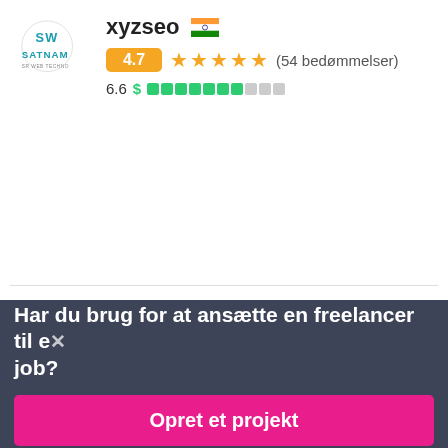[Figure (logo): Satnam SW web tech logo]
xyzseo 🇮🇳
4.7 ★★★★★ (54 bedømmelser)
6.6 $ ████████░░░
[Figure (logo): Quick logo]
seo4quality 🇮🇳
4.8 ★★★★★ (79 bedømmelser)
6.7 $ ████████░░░
Har du brug for at ansætte en freelancer til et job?
Opret et projekt